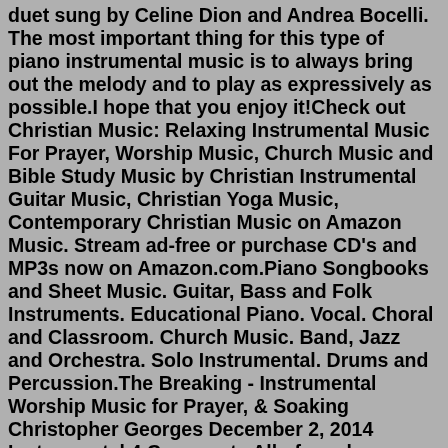duet sung by Celine Dion and Andrea Bocelli. The most important thing for this type of piano instrumental music is to always bring out the melody and to play as expressively as possible.I hope that you enjoy it!Check out Christian Music: Relaxing Instrumental Music For Prayer, Worship Music, Church Music and Bible Study Music by Christian Instrumental Guitar Music, Christian Yoga Music, Contemporary Christian Music on Amazon Music. Stream ad-free or purchase CD's and MP3s now on Amazon.com.Piano Songbooks and Sheet Music. Guitar, Bass and Folk Instruments. Educational Piano. Vocal. Choral and Classroom. Church Music. Band, Jazz and Orchestra. Solo Instrumental. Drums and Percussion.The Breaking - Instrumental Worship Music for Prayer, & Soaking Christopher Georges December 2, 2014 Instrumental 4 Comments All of you have been so encouraging and many of you have asked me to put out another prayer and worship instrumental Wvny Antenna Worship Interludes - Piano Instrumentals for Prayer, Meditation, Soaking